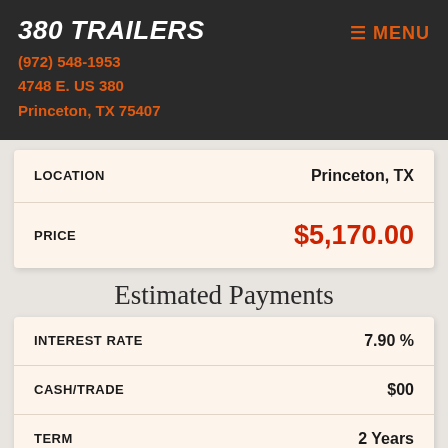380 TRAILERS | (972) 548-1953 | 4748 E. US 380 | Princeton, TX 75407 | MENU
| Field | Value |
| --- | --- |
| LOCATION | Princeton, TX |
| PRICE | $5,170.00 |
Estimated Payments
| Field | Value |
| --- | --- |
| INTEREST RATE | 7.90 % |
| CASH/TRADE | $00 |
| TERM | 2 Years |
| EST. PAYMENT | $ |